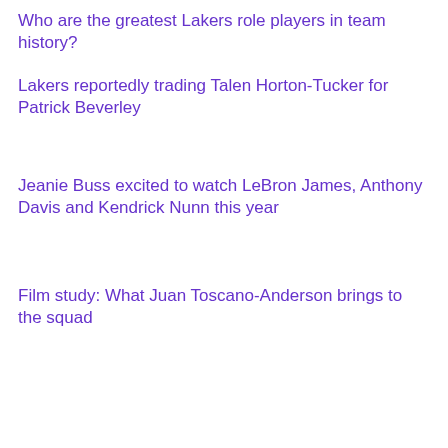Who are the greatest Lakers role players in team history?
Lakers reportedly trading Talen Horton-Tucker for Patrick Beverley
Jeanie Buss excited to watch LeBron James, Anthony Davis and Kendrick Nunn this year
Film study: What Juan Toscano-Anderson brings to the squad